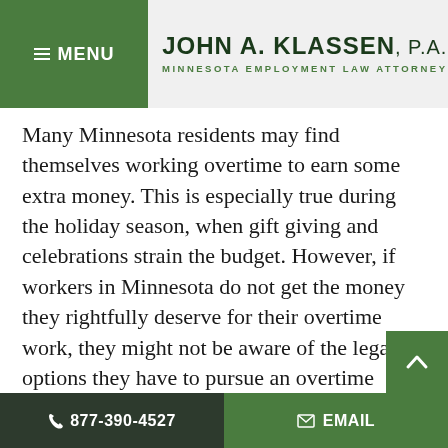≡ MENU | JOHN A. KLASSEN, P.A. MINNESOTA EMPLOYMENT LAW ATTORNEY
Many Minnesota residents may find themselves working overtime to earn some extra money. This is especially true during the holiday season, when gift giving and celebrations strain the budget. However, if workers in Minnesota do not get the money they rightfully deserve for their overtime work, they might not be aware of the legal options they have to pursue an overtime claim.

As per the Minnesota Fair Labor Standards Act, employers must pay overtime for all hours worked over 48 hours per work week, unless
📞 877-390-4527    ✉ EMAIL